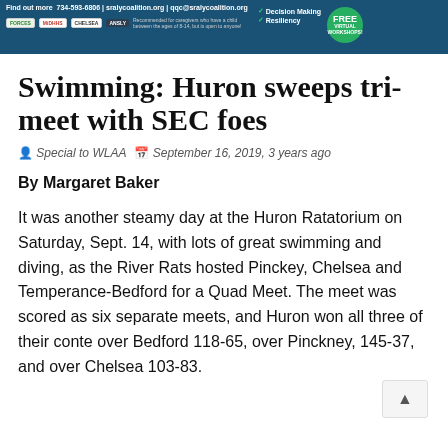[Figure (infographic): Blue banner with contact info (734-593-6806, sralycoalition.org, qqc@sralycoalition.org), partner logos (FORCES, MiDHHS, CHELSEA, ANSLY), description text, checkmarks for Decision Making and Resiliency, and FREE VIRTUAL WORKSHOPS badge]
Swimming: Huron sweeps tri-meet with SEC foes
Special to WLAA   September 16, 2019, 3 years ago
By Margaret Baker
It was another steamy day at the Huron Ratatorium on Saturday, Sept. 14, with lots of great swimming and diving, as the River Rats hosted Pinckey, Chelsea and Temperance-Bedford for a Quad Meet. The meet was scored as six separate meets, and Huron won all three of their conte over Bedford 118-65, over Pinckney, 145-37, and over Chelsea 103-83.